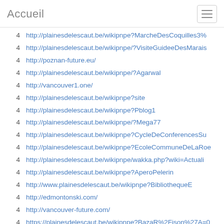Accueil
4  http://plainesdelescaut.be/wikipnpe?MarcheDesCoquilles3%
4  http://plainesdelescaut.be/wikipnpe/?VisiteGuideeDesMarais
4  http://poznan-future.eu/
4  http://plainesdelescaut.be/wikipnpe/?Agarwal
4  http://vancouver1.one/
4  http://plainesdelescaut.be/wikipnpe?site
4  http://plainesdelescaut.be/wikipnpe?Pblog1
4  http://plainesdelescaut.be/wikipnpe/?Mega77
4  http://plainesdelescaut.be/wikipnpe?CycleDeConferencesSu
4  http://plainesdelescaut.be/wikipnpe?EcoleCommuneDeLaRoe
4  http://plainesdelescaut.be/wikipnpe/wakka.php?wiki=Actuali
4  http://plainesdelescaut.be/wikipnpe?AperoPelerin
4  http://www.plainesdelescaut.be/wikipnpe?BibliothequeE
4  http://edmontonski.com/
4  http://vancouver-future.com/
4  https://plainesdelescaut.be/wikipnpe?BazaR%2Fjson%27A=0
4  http://plainesdelescaut.be/wikipnpe/?2334354
4  http://plainesdelescaut.be/wikipnpe?FormationPlantesSauva
4  http://plainesdelescaut.be/wikipnpe?TesT
4  http://plainesdelescaut.be/wikipnpe?seorankagency